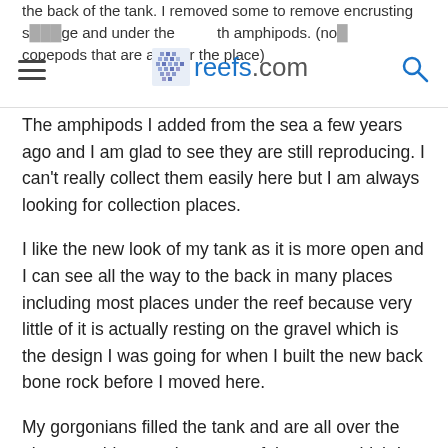the back of the tank. I removed some to remove encrusting sponge and under the ... with amphipods. (not copepods that are all over the place)
The amphipods I added from the sea a few years ago and I am glad to see they are still reproducing. I can't really collect them easily here but I am always looking for collection places.
I like the new look of my tank as it is more open and I can see all the way to the back in many places including most places under the reef because very little of it is actually resting on the gravel which is the design I was going for when I built the new back bone rock before I moved here.
My gorgonians filled the tank and are all over the place reaching up almost out of the water which I am happy about.
I think the fish are also happy because I have been finding fish in there I didn't even remember I had. 😯
Fish can, and do hide in my tank for months. My Janss pipefish